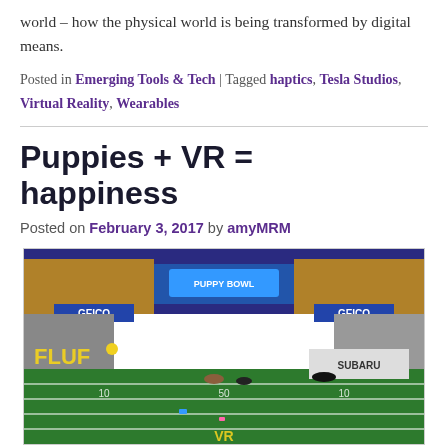world – how the physical world is being transformed by digital means.
Posted in Emerging Tools & Tech | Tagged haptics, Tesla Studios, Virtual Reality, Wearables
Puppies + VR = happiness
Posted on February 3, 2017 by amyMRM
[Figure (photo): A VR panoramic view of a puppy bowl stadium scene with GEICO and Subaru branding, puppies on a green football field, crowd in the background, with 'VR' text overlay at bottom.]